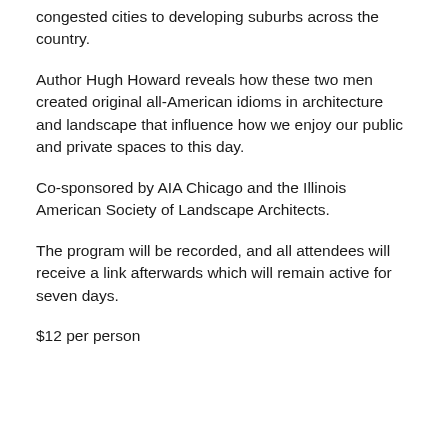congested cities to developing suburbs across the country.
Author Hugh Howard reveals how these two men created original all-American idioms in architecture and landscape that influence how we enjoy our public and private spaces to this day.
Co-sponsored by AIA Chicago and the Illinois American Society of Landscape Architects.
The program will be recorded, and all attendees will receive a link afterwards which will remain active for seven days.
$12 per person